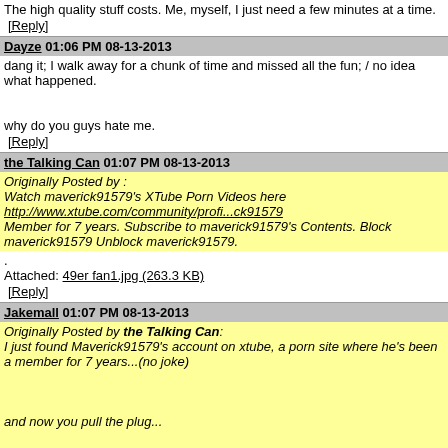The high quality stuff costs. Me, myself, I just need a few minutes at a time.
[Reply]
Dayze 01:06 PM 08-13-2013
dang it; I walk away for a chunk of time and missed all the fun; / no idea what happened.

why do you guys hate me.
[Reply]
the Talking Can 01:07 PM 08-13-2013
Originally Posted by :
Watch maverick91579's XTube Porn Videos here
http://www.xtube.com/community/profi...ck91579
Member for 7 years. Subscribe to maverick91579's Contents. Block maverick91579 Unblock maverick91579.
.
Attached: 49er fan1.jpg (263.3 KB)
[Reply]
Jakemall 01:07 PM 08-13-2013
Originally Posted by the Talking Can:
I just found Maverick91579's account on xtube, a porn site where he's been a member for 7 years...(no joke)


and now you pull the plug...


BOOOOOOOOOOOOOOOOO


:-)